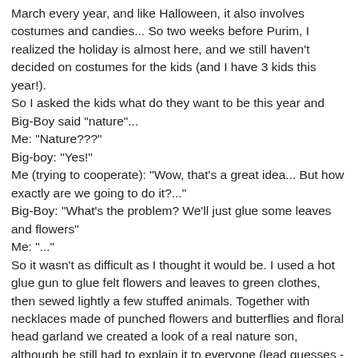March every year, and like Halloween, it also involves costumes and candies... So two weeks before Purim, I realized the holiday is almost here, and we still haven't decided on costumes for the kids (and I have 3 kids this year!). So I asked the kids what do they want to be this year and Big-Boy said "nature"... Me: "Nature???" Big-boy: "Yes!" Me (trying to cooperate): "Wow, that's a great idea... But how exactly are we going to do it?..." Big-Boy: "What's the problem? We'll just glue some leaves and flowers" Me: "..." So it wasn't as difficult as I thought it would be. I used a hot glue gun to glue felt flowers and leaves to green clothes, then sewed lightly a few stuffed animals. Together with necklaces made of punched flowers and butterflies and floral head garland we created a look of a real nature son, although he still had to explain it to everyone (lead guesses - Jungle Boy, tree and forest).